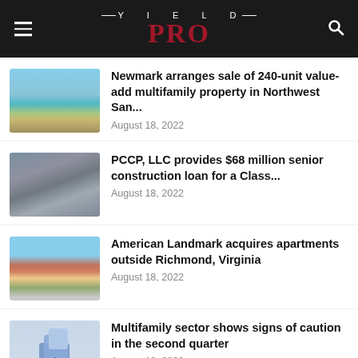YIELD PRO
Newmark arranges sale of 240-unit value-add multifamily property in Northwest San... — August 18, 2022
PCCP, LLC provides $68 million senior construction loan for a Class... — August 18, 2022
American Landmark acquires apartments outside Richmond, Virginia — August 18, 2022
Multifamily sector shows signs of caution in the second quarter — August 18, 2022